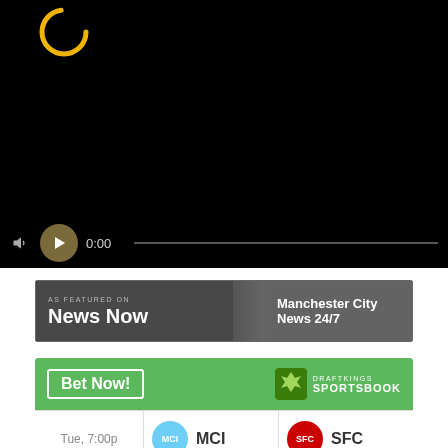[Figure (screenshot): Video player with black background, yellow spinning ring at top-left, and playback controls bar at bottom showing volume icon, play button, time 0:00, and progress bar]
[Figure (screenshot): News Now banner: 'AS FEATURED ON / NEWS NOW' on left, 'Manchester City News 24/7' on right]
[Figure (screenshot): DraftKings Sportsbook betting widget with green background. 'Bet Now!' button on left, DraftKings logo on right. Match row below shows Tue, 7:00p | MCI badge + MCI | SFC badge + SFC]